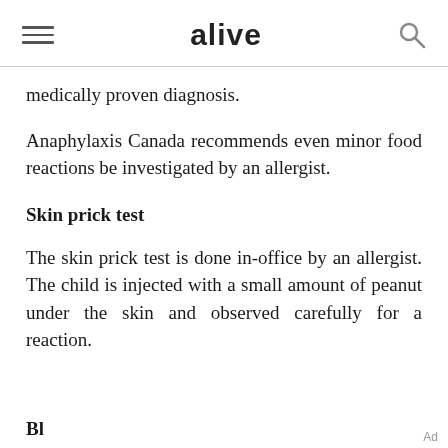alive
medically proven diagnosis.
Anaphylaxis Canada recommends even minor food reactions be investigated by an allergist.
Skin prick test
The skin prick test is done in-office by an allergist. The child is injected with a small amount of peanut under the skin and observed carefully for a reaction.
Bl...
Ad